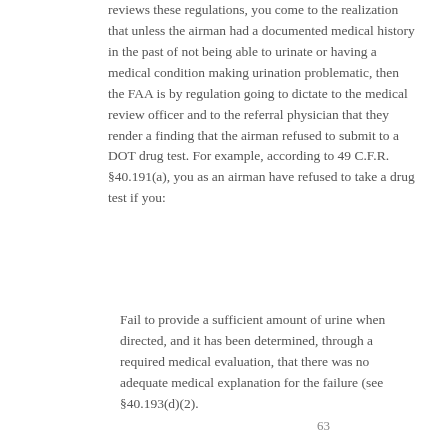reviews these regulations, you come to the realization that unless the airman had a documented medical history in the past of not being able to urinate or having a medical condition making urination problematic, then the FAA is by regulation going to dictate to the medical review officer and to the referral physician that they render a finding that the airman refused to submit to a DOT drug test. For example, according to 49 C.F.R. §40.191(a), you as an airman have refused to take a drug test if you:
Fail to provide a sufficient amount of urine when directed, and it has been determined, through a required medical evaluation, that there was no adequate medical explanation for the failure (see §40.193(d)(2).
63